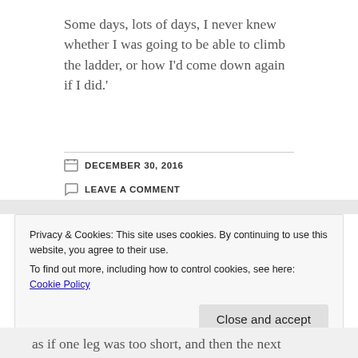Some days, lots of days, I never knew whether I was going to be able to climb the ladder, or how I'd come down again if I did.'
DECEMBER 30, 2016
LEAVE A COMMENT
Privacy & Cookies: This site uses cookies. By continuing to use this website, you agree to their use.
To find out more, including how to control cookies, see here: Cookie Policy
Close and accept
as if one leg was too short, and then the next